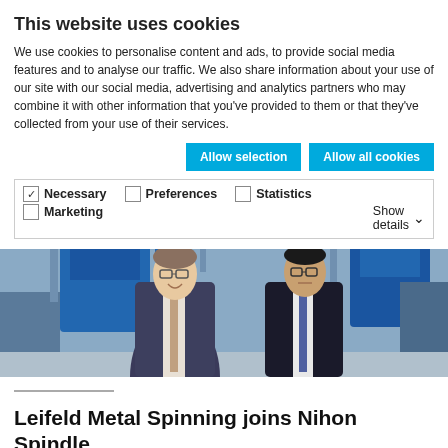This website uses cookies
We use cookies to personalise content and ads, to provide social media features and to analyse our traffic. We also share information about your use of our site with our social media, advertising and analytics partners who may combine it with other information that you've provided to them or that they've collected from your use of their services.
Allow selection | Allow all cookies
✓ Necessary  ☐ Preferences  ☐ Statistics  ☐ Marketing  Show details
[Figure (photo): Two men in business suits standing in an industrial/manufacturing facility with blue machinery in the background.]
Leifeld Metal Spinning joins Nihon Spindle